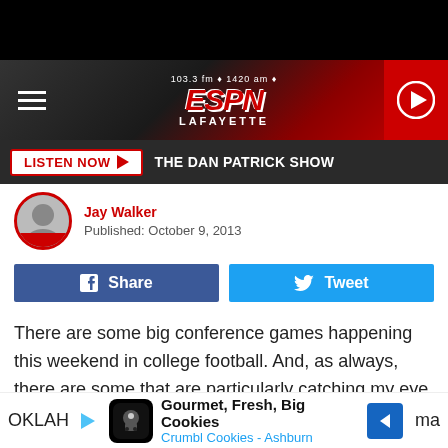[Figure (logo): ESPN Lafayette radio station logo with 103.3 fm and 1420 am frequencies]
LISTEN NOW ▶   THE DAN PATRICK SHOW
Jay Walker
Published: October 9, 2013
Share   Tweet
There are some big conference games happening this weekend in college football.  And, as always, there are some that are particularly catching my eye. While none of these will feature the two best teams in a certain conference, they're still really important games.
[Figure (screenshot): Advertisement for Crumbl Cookies - Ashburn: Gourmet, Fresh, Big Cookies]
OKLAH...ma